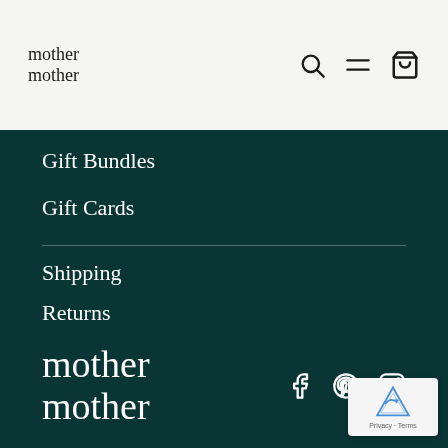mother mother
Gift Bundles
Gift Cards
Shipping
Returns
Stockists
Contact
mother mother